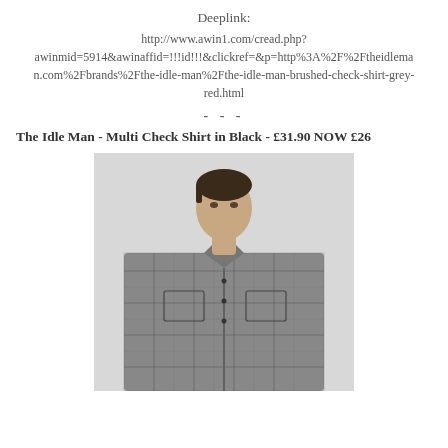Deeplink:
http://www.awin1.com/cread.php?awinmid=5914&awinaffid=!!!id!!!&clickref=&p=http%3A%2F%2Ftheidleman.com%2Fbrands%2Fthe-idle-man%2Fthe-idle-man-brushed-check-shirt-grey-red.html
- - -
The Idle Man - Multi Check Shirt in Black - £31.90 NOW £26
[Figure (photo): Young man wearing a grey/black multi-check shirt, front-facing, against a light grey background]